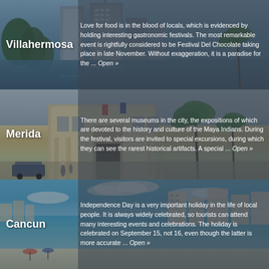[Figure (photo): Aerial/cityscape photo of Villahermosa with buildings and water]
Villahermosa
Love for food is in the blood of locals, which is evidenced by holding interesting gastronomic festivals. The most remarkable event is rightfully considered to be Festival Del Chocolate taking place in late November. Without exaggeration, it is a paradise for the ... Open »
[Figure (photo): Street/plaza photo of Merida with colonial architecture and palm trees]
Merida
There are several museums in the city, the expositions of which are devoted to the history and culture of the Maya Indians. During the festival, visitors are invited to special excursions, during which they can see the rarest historical artifacts. A special ... Open »
[Figure (photo): Aerial beach photo of Cancun with turquoise water and hotels]
Cancun
Independence Day is a very important holiday in the life of local people. It is always widely celebrated, so tourists can attend many interesting events and celebrations. The holiday is celebrated on September 15, not 16, even though the latter is more accurate ... Open »